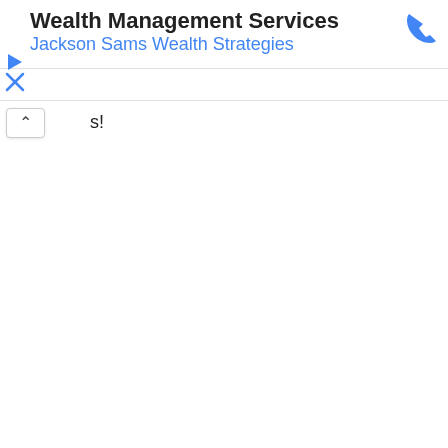Wealth Management Services
Jackson Sams Wealth Strategies
[Figure (other): Blue phone icon in upper right corner of header]
[Figure (other): Blue play triangle icon on left side]
[Figure (other): Blue X icon on left side]
s!